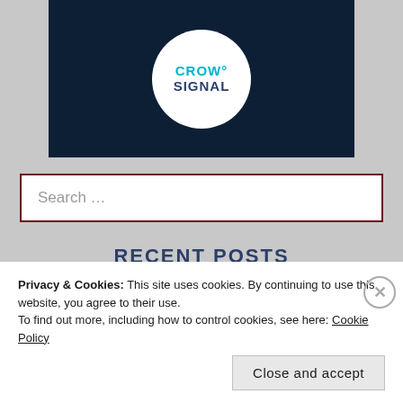[Figure (logo): Crowdsignal logo: dark navy background with a white circle containing the text CROW° SIGNAL in teal and dark blue]
Search ...
RECENT POSTS
THE SCHOLARLY FREEDOM OF DIVINE FEMININE SEDUCTIVENESS
Privacy & Cookies: This site uses cookies. By continuing to use this website, you agree to their use.
To find out more, including how to control cookies, see here: Cookie Policy
Close and accept